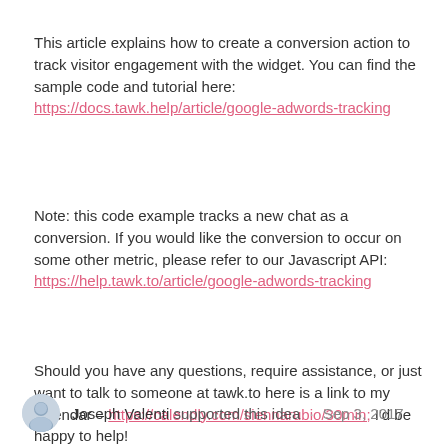This article explains how to create a conversion action to track visitor engagement with the widget. You can find the sample code and tutorial here: https://docs.tawk.help/article/google-adwords-tracking
Note: this code example tracks a new chat as a conversion. If you would like the conversion to occur on some other metric, please refer to our Javascript API: https://help.tawk.to/article/google-adwords-tracking
Should you have any questions, require assistance, or just want to talk to someone at tawk.to here is a link to my calendar – https://calendly.com/siennarubio/30min; I'd be happy to help!
Joseph Valenti supported this idea · Sep 3, 2017